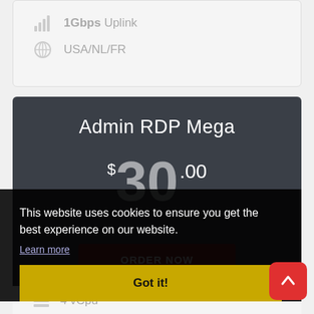1Gbps Uplink
USA/NL/FR
Admin RDP Mega
$30.00
This website uses cookies to ensure you get the best experience on our website.
Learn more
ORDER NOW
Got it!
4 vCpu